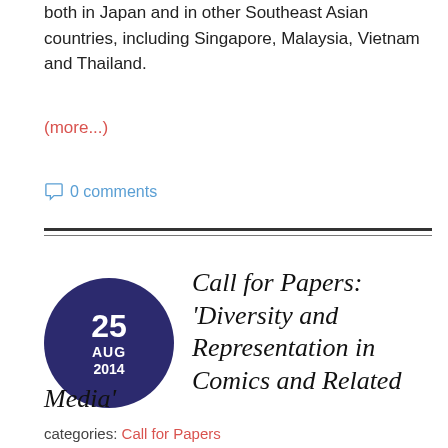both in Japan and in other Southeast Asian countries, including Singapore, Malaysia, Vietnam and Thailand.
(more...)
0 comments
Call for Papers: 'Diversity and Representation in Comics and Related Media'
categories: Call for Papers